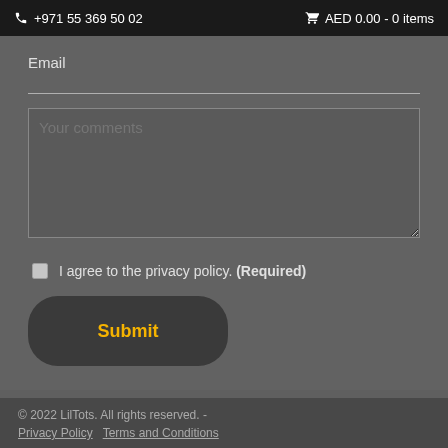+971 55 369 50 02   AED 0.00 - 0 items
Email
Your comments
I agree to the privacy policy. (Required)
Submit
© 2022 LilTots. All rights reserved. - Privacy Policy  Terms and Conditions